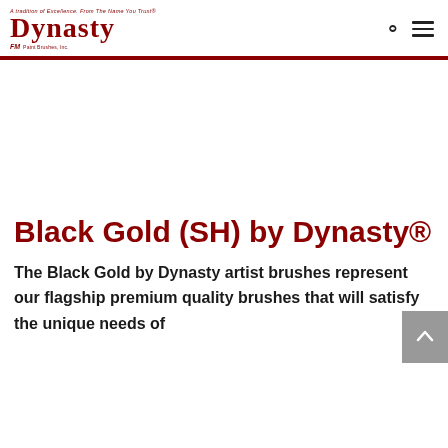Dynasty (logo) — navigation header with search and menu icons
Black Gold (SH) by Dynasty®
The Black Gold by Dynasty artist brushes represent our flagship premium quality brushes that will satisfy the unique needs of